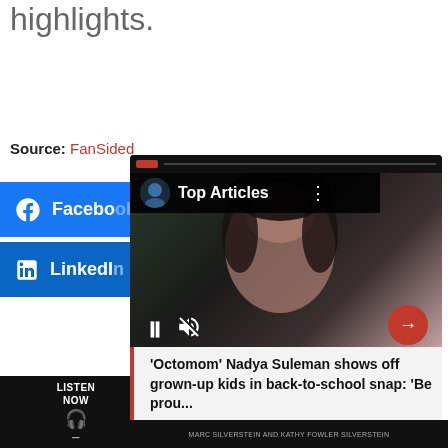highlights.
Source: FanSided
[Figure (screenshot): Social media share buttons showing Facebook and LinkedIn, overlaid by a video player card with 'Top Articles' banner showing an article about 'Octomom' Nadya Suleman and a Listen Now bar at the bottom.]